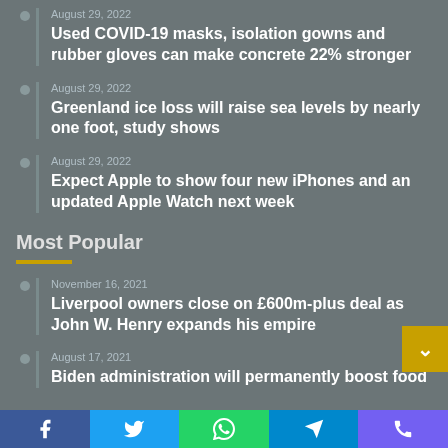August 29, 2022 — Used COVID-19 masks, isolation gowns and rubber gloves can make concrete 22% stronger
August 29, 2022 — Greenland ice loss will raise sea levels by nearly one foot, study shows
August 29, 2022 — Expect Apple to show four new iPhones and an updated Apple Watch next week
Most Popular
November 16, 2021 — Liverpool owners close on £600m-plus deal as John W. Henry expands his empire
August 17, 2021 — Biden administration will permanently boost food